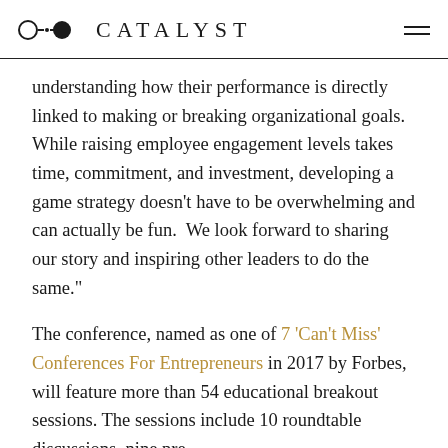CATALYST
understanding how their performance is directly linked to making or breaking organizational goals. While raising employee engagement levels takes time, commitment, and investment, developing a game strategy doesn’t have to be overwhelming and can actually be fun.  We look forward to sharing our story and inspiring other leaders to do the same.”
The conference, named as one of 7 ‘Can’t Miss’ Conferences For Entrepreneurs in 2017 by Forbes, will feature more than 54 educational breakout sessions. The sessions include 10 roundtable discussions, nine pre-